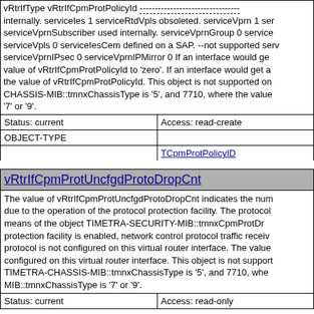vRtrIfType vRtrIfCpmProtPolicyId --- internally. serviceIes 1 serviceRtdVpls obsoleted. serviceVprn 1 ser serviceVprnSubscriber used internally. serviceVprnGroup 0 service serviceVpls 0 serviceIesCem defined on a SAP. --not supported serv serviceVprnIPsec 0 serviceVprnIPMirror 0 If an interface would ge value of vRtrIfCpmProtPolicyId to 'zero'. If an interface would get a the value of vRtrIfCpmProtPolicyId. This object is not supported on CHASSIS-MIB::tmnxChassisType is '5', and 7710, where the value '7' or '9'.
| Status: current | Access: read-create |
| --- | --- |
| OBJECT-TYPE |  |
|  | TCpmProtPolicyID |
vRtrIfCpmProtUncfgdProtoDropCnt
The value of vRtrIfCpmProtUncfgdProtoDropCnt indicates the num due to the operation of the protocol protection facility. The protocol means of the object TIMETRA-SECURITY-MIB::tmnxCpmProtDr protection facility is enabled, network control protocol traffic receiv protocol is not configured on this virtual router interface. The value configured on this virtual router interface. This object is not support TIMETRA-CHASSIS-MIB::tmnxChassisType is '5', and 7710, whe MIB::tmnxChassisType is '7' or '9'.
| Status: current | Access: read-only |
| --- | --- |